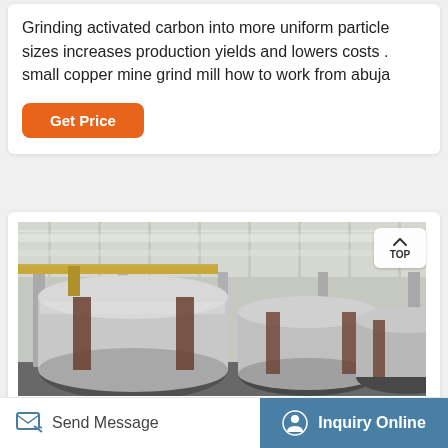Grinding activated carbon into more uniform particle sizes increases production yields and lowers costs . small copper mine grind mill how to work from abuja
[Figure (photo): Industrial factory interior showing multiple large cylindrical grinding/ball mills lined up in a row inside a large warehouse with overhead cranes and steel roof structure]
Send Message | Inquiry Online